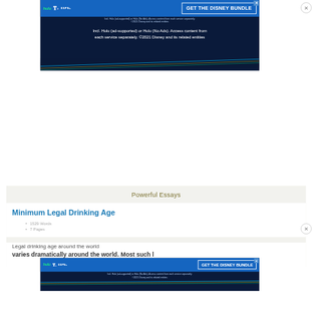[Figure (screenshot): Disney Bundle advertisement banner at top of page showing Hulu, Disney+, and ESPN+ logos with 'GET THE DISNEY BUNDLE' CTA and fine print text about Hulu access and ©2021 Disney.]
Incl. Hulu (ad-supported) or Hulu (No Ads). Access content from each service separately. ©2021 Disney and its related entities
Powerful Essays
Minimum Legal Drinking Age
1529 Words
7 Pages
Legal drinking age around the world varies dramatically around the world. Most such laws
[Figure (screenshot): Disney Bundle advertisement banner at bottom of page overlay showing Hulu, Disney+, and ESPN+ logos with 'GET THE DISNEY BUNDLE' CTA and fine print text.]